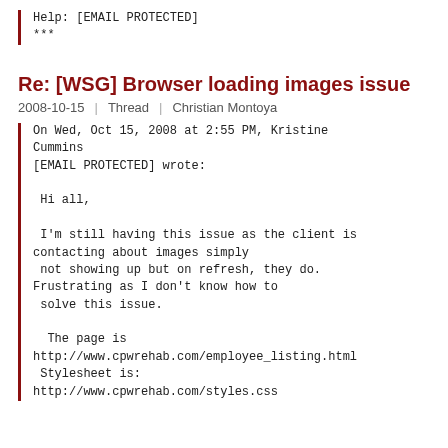Help: [EMAIL PROTECTED]
***
Re: [WSG] Browser loading images issue
2008-10-15 | Thread | Christian Montoya
On Wed, Oct 15, 2008 at 2:55 PM, Kristine Cummins
[EMAIL PROTECTED] wrote:

 Hi all,

 I'm still having this issue as the client is contacting about images simply
 not showing up but on refresh, they do. Frustrating as I don't know how to
  solve this issue.

  The page is
http://www.cpwrehab.com/employee_listing.html
  Stylesheet is:
http://www.cpwrehab.com/styles.css